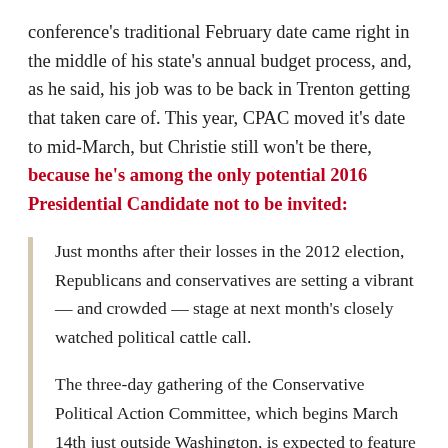conference's traditional February date came right in the middle of his state's annual budget process, and, as he said, his job was to be back in Trenton getting that taken care of. This year, CPAC moved it's date to mid-March, but Christie still won't be there, because he's among the only potential 2016 Presidential Candidate not to be invited:
Just months after their losses in the 2012 election, Republicans and conservatives are setting a vibrant — and crowded — stage at next month's closely watched political cattle call.
The three-day gathering of the Conservative Political Action Committee, which begins March 14th just outside Washington, is expected to feature more than two dozen high-profile Republicans, including former Gov. Mitt